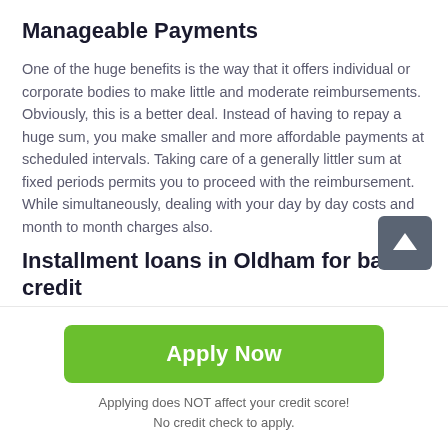Manageable Payments
One of the huge benefits is the way that it offers individual or corporate bodies to make little and moderate reimbursements. Obviously, this is a better deal. Instead of having to repay a huge sum, you make smaller and more affordable payments at scheduled intervals. Taking care of a generally littler sum at fixed periods permits you to proceed with the reimbursement. While simultaneously, dealing with your day by day costs and month to month charges also.
Installment loans in Oldham for bad credit where's the catch?
Apply Now
Applying does NOT affect your credit score!
No credit check to apply.